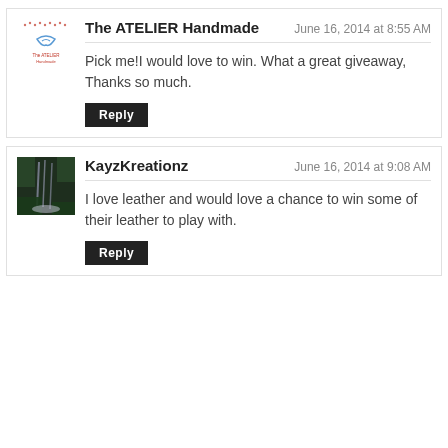[Figure (logo): Small logo for The ATELIER Handmade]
The ATELIER Handmade
June 16, 2014 at 8:55 AM
Pick me!I would love to win. What a great giveaway, Thanks so much.
Reply
[Figure (photo): Thumbnail photo showing a waterfall/forest scene]
KayzKreationz
June 16, 2014 at 9:08 AM
I love leather and would love a chance to win some of their leather to play with.
Reply